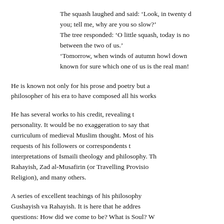The squash laughed and said: ‘Look, in twenty days I surpassed you; tell me, why are you so slow?’
The tree responded: ‘O little squash, today is not the day of reckoning between the two of us.’
‘Tomorrow, when winds of autumn howl down upon us, it shall be known for sure which one of us is the real man!’
He is known not only for his prose and poetry but also as the only philosopher of his era to have composed all his works in Persian.
He has several works to his credit, revealing the multifaceted personality. It would be no exaggeration to say that his works reflect the curriculum of medieval Muslim thought. Most of his works were written on requests of his followers or correspondents to set out his interpretations of Ismaili theology and philosophy. They include Gushayish va Rahayish, Zad al-Musafirin (or Travelling Provisions), Wajh-i-Din (or Face of Religion), and many others.
A series of excellent teachings of his philosophy are preserved in Gushayish va Rahayish. It is here that he addresses the fundamental questions: How did we come to be? What is Soul? W... is also here that he applies rational tools to expla...